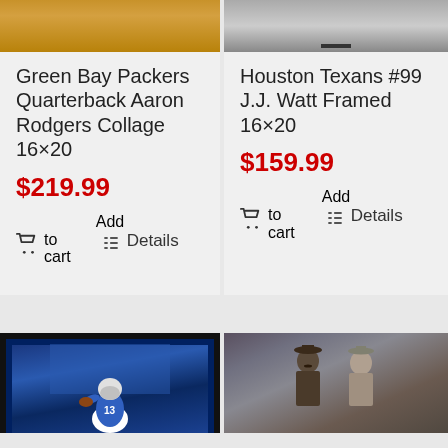Green Bay Packers Quarterback Aaron Rodgers Collage 16×20
$219.99
Add to cart
Details
Houston Texans #99 J.J. Watt Framed 16×20
$159.99
Add to cart
Details
[Figure (photo): Sports photo - Indianapolis Colts quarterback throwing a pass, blue jersey #13]
[Figure (photo): Photo of two men in cowboy/western attire, movie still]